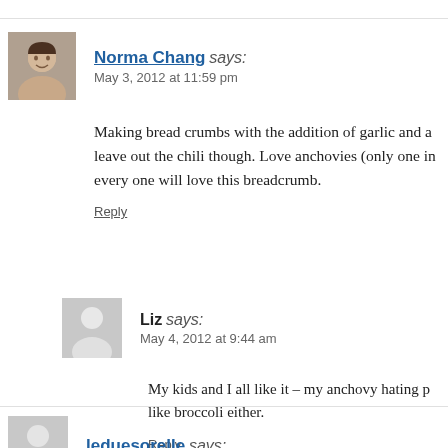Norma Chang says: May 3, 2012 at 11:59 pm
Making bread crumbs with the addition of garlic and a... leave out the chili though. Love anchovies (only one in... every one will love this breadcrumb.
Reply
Liz says: May 4, 2012 at 9:44 am
My kids and I all like it – my anchovy hating p... like broccoli either.
Reply
leduesorelle says: